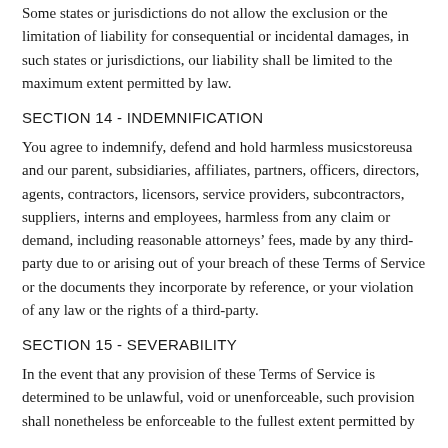Some states or jurisdictions do not allow the exclusion or the limitation of liability for consequential or incidental damages, in such states or jurisdictions, our liability shall be limited to the maximum extent permitted by law.
SECTION 14 - INDEMNIFICATION
You agree to indemnify, defend and hold harmless musicstoreusa and our parent, subsidiaries, affiliates, partners, officers, directors, agents, contractors, licensors, service providers, subcontractors, suppliers, interns and employees, harmless from any claim or demand, including reasonable attorneys’ fees, made by any third-party due to or arising out of your breach of these Terms of Service or the documents they incorporate by reference, or your violation of any law or the rights of a third-party.
SECTION 15 - SEVERABILITY
In the event that any provision of these Terms of Service is determined to be unlawful, void or unenforceable, such provision shall nonetheless be enforceable to the fullest extent permitted by